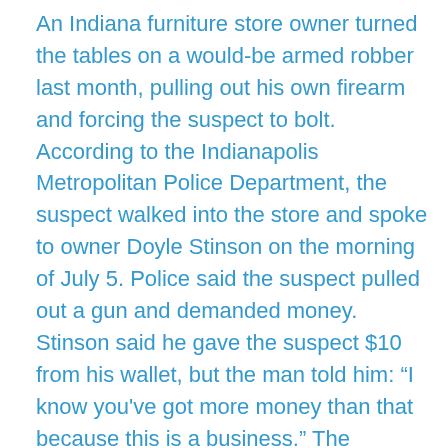An Indiana furniture store owner turned the tables on a would-be armed robber last month, pulling out his own firearm and forcing the suspect to bolt. According to the Indianapolis Metropolitan Police Department, the suspect walked into the store and spoke to owner Doyle Stinson on the morning of July 5. Police said the suspect pulled out a gun and demanded money. Stinson said he gave the suspect $10 from his wallet, but the man told him: “I know you've got more money than that because this is a business.” The suspect then marched Stinson to the owner’s office and the back of the store. “Once he gets me back to the back room, that was a mistake,” Stinson told Fox 59. “I go back here, I hit my silent alarm emergency button.” Stinson told the station that he knew the would-be robber's gun wasn't loaded. When the pair got to his office, the store owner grabbed his own .40-caliber